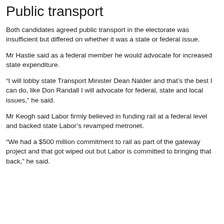Public transport
Both candidates agreed public transport in the electorate was insufficient but differed on whether it was a state or federal issue.
Mr Hastie said as a federal member he would advocate for increased state expenditure.
“I will lobby state Transport Minister Dean Nalder and that’s the best I can do, like Don Randall I will advocate for federal, state and local issues,” he said.
Mr Keogh said Labor firmly believed in funding rail at a federal level and backed state Labor’s revamped metronet.
“We had a $500 million commitment to rail as part of the gateway project and that got wiped out but Labor is committed to bringing that back,” he said.